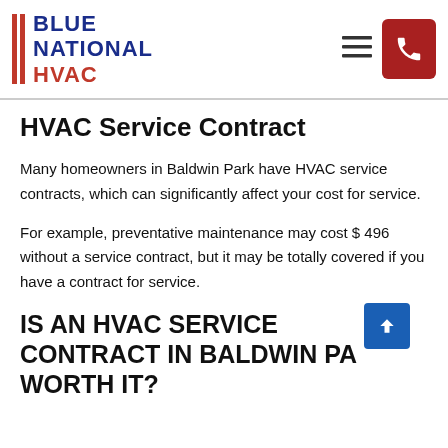BLUE NATIONAL HVAC
HVAC Service Contract
Many homeowners in Baldwin Park have HVAC service contracts, which can significantly affect your cost for service.
For example, preventative maintenance may cost $ 496 without a service contract, but it may be totally covered if you have a contract for service.
IS AN HVAC SERVICE CONTRACT IN BALDWIN PARK WORTH IT?